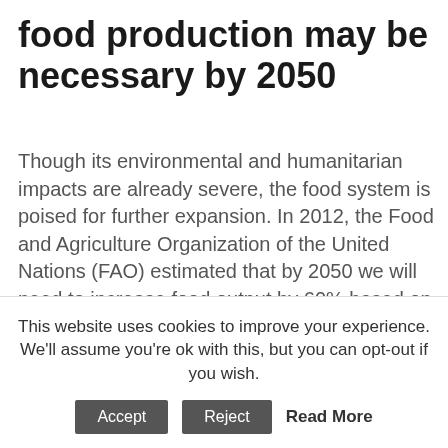food production may be necessary by 2050
Though its environmental and humanitarian impacts are already severe, the food system is poised for further expansion. In 2012, the Food and Agriculture Organization of the United Nations (FAO) estimated that by 2050 we will need to increase food output by 60% based on a business-as-usual scenario. Since the FAO's projections, population increases have been further revised upwards and food demand is likely to double. This represents a larger increase from today's production than we have seen since the 1960s. Past concerns about the scalability of global food supply have historically been laid to rest by a continuous increase in
This website uses cookies to improve your experience. We'll assume you're ok with this, but you can opt-out if you wish.